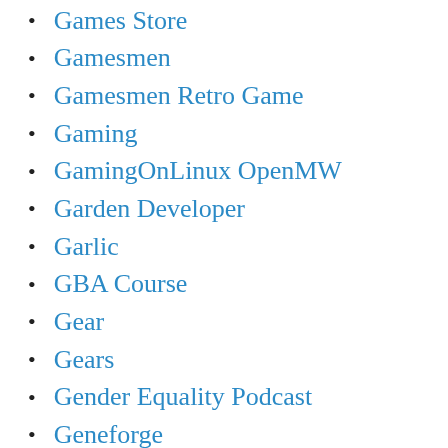Games Store
Gamesmen
Gamesmen Retro Game
Gaming
GamingOnLinux OpenMW
Garden Developer
Garlic
GBA Course
Gear
Gears
Gender Equality Podcast
Geneforge
General
German
Get Answers
Get Festive
Get Free Advice